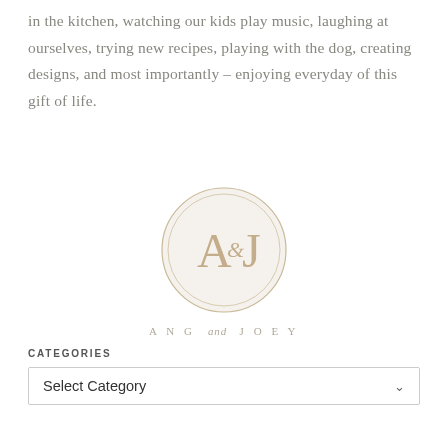in the kitchen, watching our kids play music, laughing at ourselves, trying new recipes, playing with the dog, creating designs, and most importantly – enjoying everyday of this gift of life.
[Figure (logo): Circular logo with stylized A&J monogram in tan/gold color with double circle border, and text 'ANG and JOEY' below in spaced uppercase serif letters]
CATEGORIES
Select Category